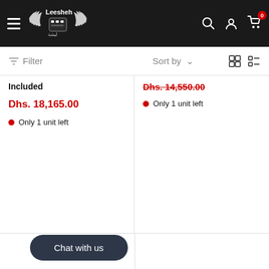[Figure (screenshot): Leesheh e-commerce website navigation bar with logo, hamburger menu, search, account, and cart icons]
Filter
Sort by
Included
Dhs. 18,165.00
Only 1 unit left
Dhs. 14,550.00
Only 1 unit left
Chat with us